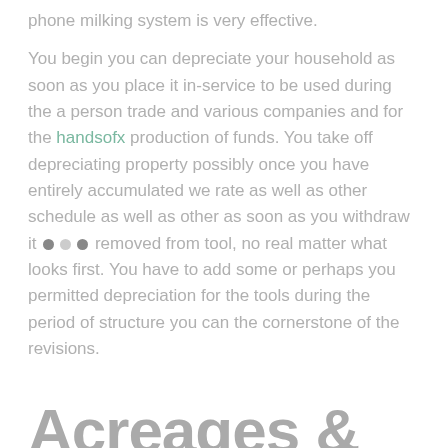phone milking system is very effective.
You begin you can depreciate your household as soon as you place it in-service to be used during the a person trade and various companies and for the handsofx production of funds. You take off depreciating property possibly once you have entirely accumulated we rate as well as other schedule as well as other as soon as you withdraw it removed from tool, no real matter what looks first. You have to add some or perhaps you permitted depreciation for the tools during the period of structure you can the cornerstone of the revisions.
Acreages & Sport Harvesting On the